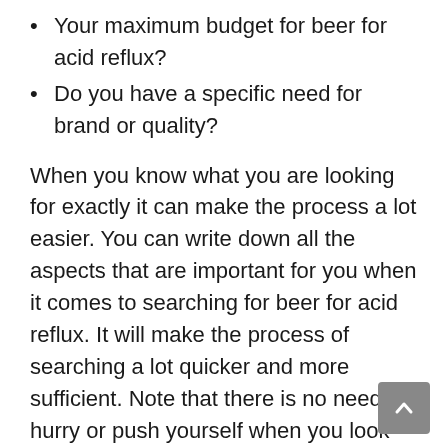Your maximum budget for beer for acid reflux?
Do you have a specific need for brand or quality?
When you know what you are looking for exactly it can make the process a lot easier. You can write down all the aspects that are important for you when it comes to searching for beer for acid reflux. It will make the process of searching a lot quicker and more sufficient. Note that there is no need to hurry or push yourself when you look for beer for acid reflux. If you want to have the best beer for acid reflux for your need, take your time and enjoy the process.